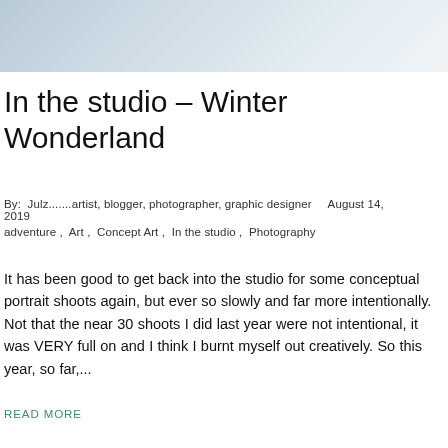[Figure (photo): Partial view of a person in light clothing, cropped photo strip at top of page]
In the studio – Winter Wonderland
By:  Julz.......artist, blogger, photographer, graphic designer     August 14, 2019
adventure ,  Art ,  Concept Art ,  In the studio ,  Photography
It has been good to get back into the studio for some conceptual portrait shoots again, but ever so slowly and far more intentionally. Not that the near 30 shoots I did last year were not intentional, it was VERY full on and I think I burnt myself out creatively. So this year, so far,...
READ MORE